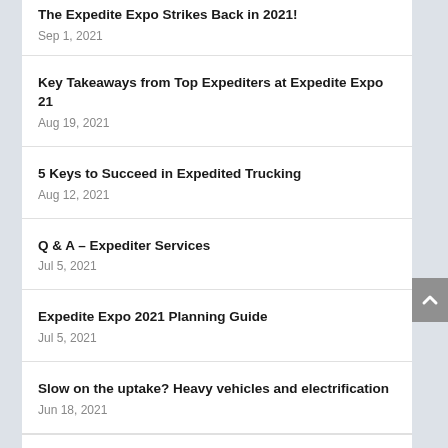The Expedite Expo Strikes Back in 2021!
Sep 1, 2021
Key Takeaways from Top Expediters at Expedite Expo 21
Aug 19, 2021
5 Keys to Succeed in Expedited Trucking
Aug 12, 2021
Q & A – Expediter Services
Jul 5, 2021
Expedite Expo 2021 Planning Guide
Jul 5, 2021
Slow on the uptake? Heavy vehicles and electrification
Jun 18, 2021